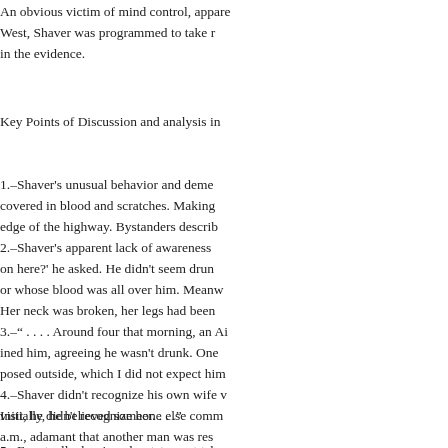An obvious victim of mind control, appare... West, Shaver was programmed to take r... in the evidence.
Key Points of Discussion and analysis in...
1.–Shaver's unusual behavior and deme... covered in blood and scratches. Making ... edge of the highway. Bystanders describ...
2.–Shaver's apparent lack of awareness... on here?' he asked. He didn't seem drun... or whose blood was all over him. Meanw... Her neck was broken, her legs had been...
3.–" . . . . Around four that morning, an Ai... ined him, agreeing he wasn't drunk. One... posed outside, which I did not expect him...
4.–Shaver didn't recognize his own wife v... visit, he didn't recognize her. . . ."
Initially, he believed someone else comm... a.m., adamant that another man was res... blond hair and tattoos. . . ."
5.–Eventually, he signed a statement tak... to the jailhouse, however, Shaver signed... didn't remember anything, he reasoned t...
6.–Enter Jolly West: " . . . . Two months l...